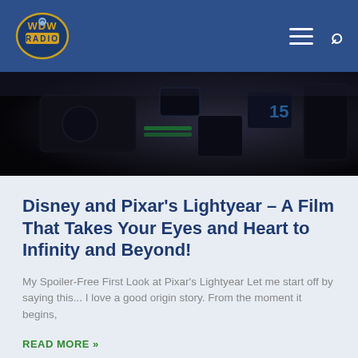WDW Radio
[Figure (photo): Dark cinematic still from Pixar's Lightyear film showing a space suit or cockpit equipment with a number 15 visible]
Disney and Pixar's Lightyear – A Film That Takes Your Eyes and Heart to Infinity and Beyond!
My Spoiler-Free First Look at Pixar's Lightyear Let me start off by saying this... I love a good origin story. From the moment it begins,
READ MORE »